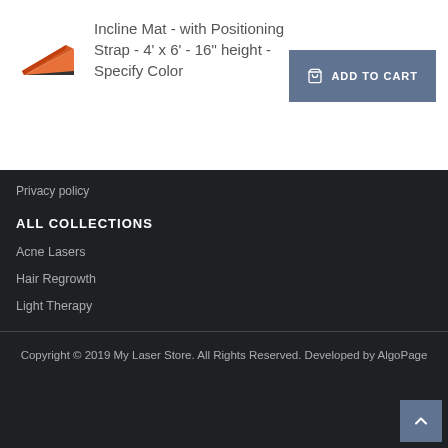[Figure (photo): Product thumbnail of an incline mat, shown at an angle with orange/red coloring]
Incline Mat - with Positioning Strap - 4' x 6' - 16" height - Specify Color
ADD TO CART
Privacy policy
ALL COLLECTIONS
Acne Lasers
Hair Regrowth
Light Therapy
Copyright © 2019 My Laser Store. All Rights Reserved. Developed by AlgoPage